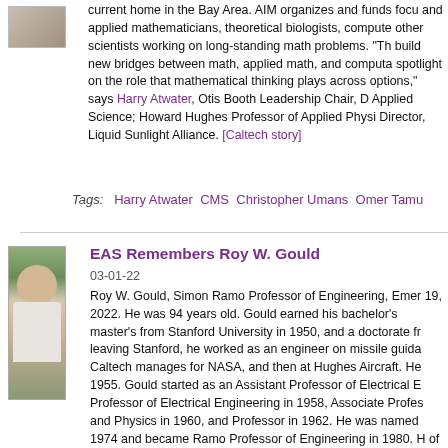[Figure (photo): Small thumbnail photo showing a laptop on a desk in the Bay Area context]
current home in the Bay Area. AIM organizes and funds focus and applied mathematicians, theoretical biologists, computer other scientists working on long-standing math problems. "Th build new bridges between math, applied math, and computa spotlight on the role that mathematical thinking plays across options," says Harry Atwater, Otis Booth Leadership Chair, D Applied Science; Howard Hughes Professor of Applied Physi Director, Liquid Sunlight Alliance. [Caltech story]
Tags:   Harry Atwater   CMS   Christopher Umans   Omer Tamu
[Figure (photo): Portrait photo of Roy W. Gould, an elderly man smiling outdoors]
EAS Remembers Roy W. Gould
03-01-22
Roy W. Gould, Simon Ramo Professor of Engineering, Emer 19, 2022. He was 94 years old. Gould earned his bachelor's master's from Stanford University in 1950, and a doctorate fr leaving Stanford, he worked as an engineer on missile guida Caltech manages for NASA, and then at Hughes Aircraft. He 1955. Gould started as an Assistant Professor of Electrical E Professor of Electrical Engineering in 1958, Associate Profes and Physics in 1960, and Professor in 1962. He was named 1974 and became Ramo Professor of Engineering in 1980. H of Applied Physics from 1973–79 and Chair of the Division of Science from 1979–85. Gould's research focused on plasma fusion. During his long career, Gould earned numerous awa